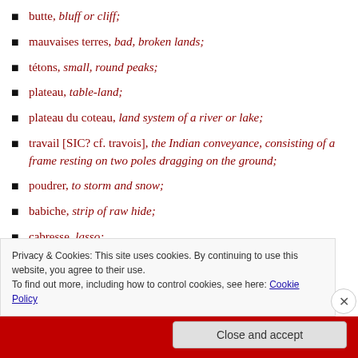butte, bluff or cliff;
mauvaises terres, bad, broken lands;
tétons, small, round peaks;
plateau, table-land;
plateau du coteau, land system of a river or lake;
travail [SIC? cf. travois], the Indian conveyance, consisting of a frame resting on two poles dragging on the ground;
poudrer, to storm and snow;
babiche, strip of raw hide;
cabresse, lasso;
Privacy & Cookies: This site uses cookies. By continuing to use this website, you agree to their use. To find out more, including how to control cookies, see here: Cookie Policy